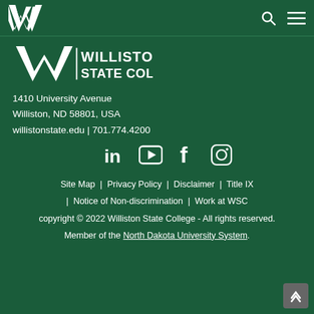Williston State College navigation bar with logo, search and menu icons
[Figure (logo): Williston State College logo with W mark and text WILLISTON STATE COLLEGE]
1410 University Avenue
Williston, ND 58801, USA
willistonstate.edu | 701.774.4200
[Figure (infographic): Social media icons: LinkedIn, YouTube, Facebook, Instagram]
Site Map | Privacy Policy | Disclaimer | Title IX | Notice of Non-discrimination | Work at WSC
copyright © 2022 Williston State College - All rights reserved.
Member of the North Dakota University System.